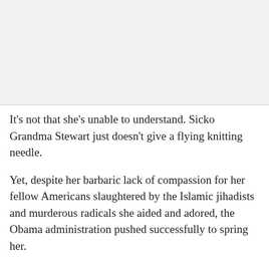[Figure (other): Image placeholder area at the top of the page, light gray background]
It's not that she's unable to understand. Sicko Grandma Stewart just doesn't give a flying knitting needle.
Yet, despite her barbaric lack of compassion for her fellow Americans slaughtered by the Islamic jihadists and murderous radicals she aided and adored, the Obama administration pushed successfully to spring her.